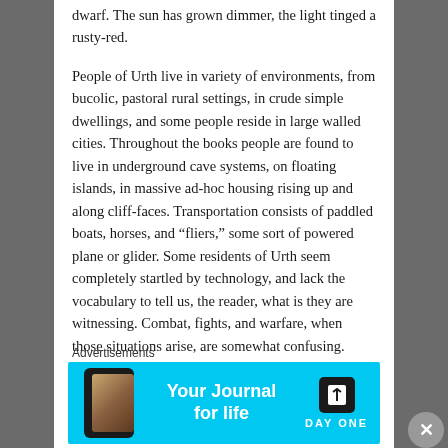dwarf. The sun has grown dimmer, the light tinged a rusty-red.
People of Urth live in variety of environments, from bucolic, pastoral rural settings, in crude simple dwellings, and some people reside in large walled cities. Throughout the books people are found to live in underground cave systems, on floating islands, in massive ad-hoc housing rising up and along cliff-faces. Transportation consists of paddled boats, horses, and “fliers,” some sort of powered plane or glider. Some residents of Urth seem completely startled by technology, and lack the vocabulary to tell us, the reader, what is they are witnessing. Combat, fights, and warfare, when those situations arise, are somewhat confusing. Combatants describe ‘fire leaping from long lances,’ or ‘violet energetic blasts searing the air.’
Meanwhile, on fights are also being described...
Advertisements
[Figure (other): Advertisement banner for Day One journal app. Cyan/light blue background with phone mockup on left showing journal content, text 'Your Journal for life' in white bold font in center, and Day One logo (bookmark icon in black square) with 'DAY ONE' text in letter-spaced white font on right.]